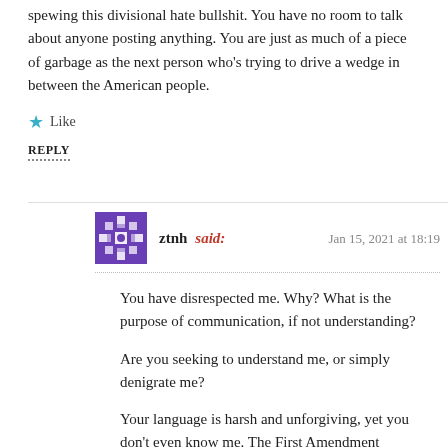spewing this divisional hate bullshit. You have no room to talk about anyone posting anything. You are just as much of a piece of garbage as the next person who's trying to drive a wedge in between the American people.
★ Like
REPLY
ztnh said: Jan 15, 2021 at 18:19
You have disrespected me. Why? What is the purpose of communication, if not understanding?
Are you seeking to understand me, or simply denigrate me?
Your language is harsh and unforgiving, yet you don't even know me. The First Amendment guarantees free speech.
I am interested in dialogue across the political spectrum. But to get respect, you